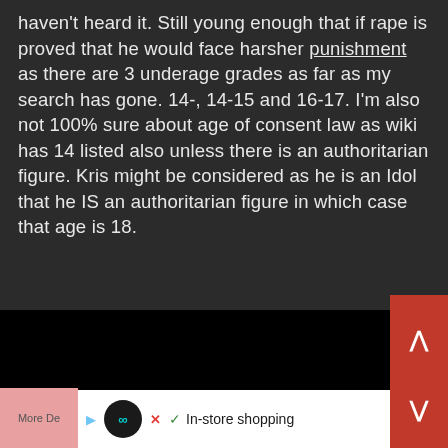haven't heard it. Still young enough that if rape is proved that he would face harsher punishment as there are 3 underage grades as far as my search has gone. 14-, 14-15 and 16-17. I'm also not 100% sure about age of consent law as wiki has 14 listed also unless there is an authoritarian figure. Kris might be considered as he is an Idol that he IS an authoritarian figure in which case that age is 18.
This site uses cookies. By continuing to browse this site, you are agreeing to our use of cookies.